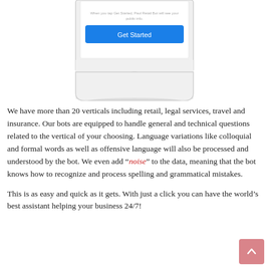[Figure (screenshot): Bottom portion of a smartphone showing a 'Get Started' blue button and the phone's home button, with text 'When you tap Get Started, Paul Retail Bot will see your public info.']
We have more than 20 verticals including retail, legal services, travel and insurance. Our bots are equipped to handle general and technical questions related to the vertical of your choosing. Language variations like colloquial and formal words as well as offensive language will also be processed and understood by the bot. We even add “noise” to the data, meaning that the bot knows how to recognize and process spelling and grammatical mistakes.
This is as easy and quick as it gets. With just a click you can have the world’s best assistant helping your business 24/7!